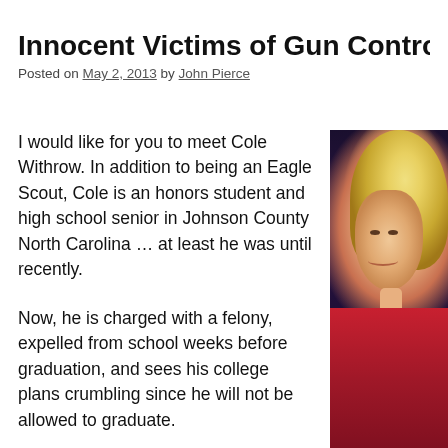Innocent Victims of Gun Control: The Eag
Posted on May 2, 2013 by John Pierce
I would like for you to meet Cole Withrow. In addition to being an Eagle Scout, Cole is an honors student and high school senior in Johnson County North Carolina … at least he was until recently.
Now, he is charged with a felony, expelled from school weeks before graduation, and sees his college plans crumbling since he will not be allowed to graduate.
All of the hard work he has put into becoming a successful member of society is threatened.
[Figure (photo): Photo of a blonde woman in a red top, cropped on the right side of the page]